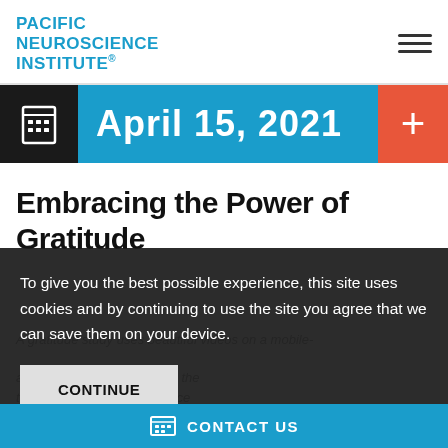PACIFIC NEUROSCIENCE INSTITUTE®
[Figure (logo): Pacific Neuroscience Institute logo in blue bold uppercase text with registered trademark symbol]
April 15, 2021
Embracing the Power of Gratitude
To give you the best possible experience, this site uses cookies and by continuing to use the site you agree that we can save them on your device.
CONTINUE
A gratitude study uses beautiful videos on a mobile- ...ance well-being and adds to the ...tudies at Pacific Neuroscience Institute.
CONTACT US